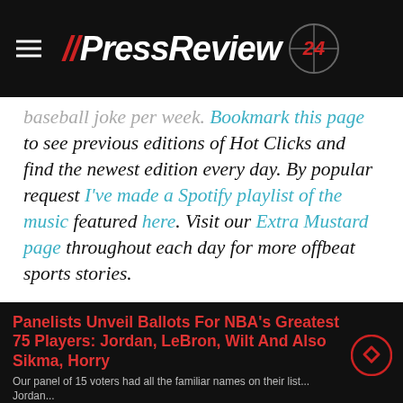// PressReview 24
baseball joke per week. Bookmark this page to see previous editions of Hot Clicks and find the newest edition every day. By popular request I've made a Spotify playlist of the music featured here. Visit our Extra Mustard page throughout each day for more offbeat sports stories.
Panelists Unveil Ballots For NBA's Greatest 75 Players: Jordan, LeBron, Wilt And Also Sikma, Horry
Our panel of 15 voters had all the familiar names on their list... Jordan...